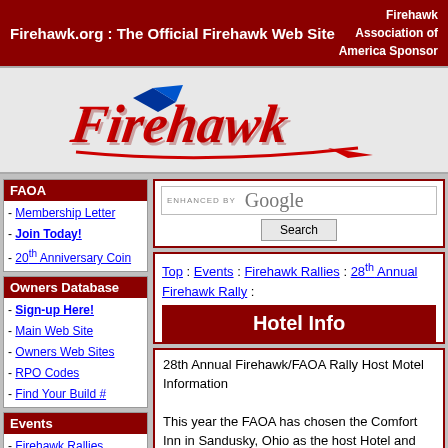Firehawk.org : The Official Firehawk Web Site | Firehawk Association of America Sponsor
[Figure (logo): Firehawk script logo in red with blue accent on white background]
FAOA
- Membership Letter
- Join Today!
- 20th Anniversary Coin
Owners Database
- Sign-up Here!
- Main Web Site
- Owners Web Sites
- RPO Codes
- Find Your Build #
Events
- Firehawk Rallies
- Firehawk Fests
- Other Events
ENHANCED BY Google Search
Top : Events : Firehawk Rallies : 28th Annual Firehawk Rally :
Hotel Info
28th Annual Firehawk/FAOA Rally Host Motel Information

This year the FAOA has chosen the Comfort Inn in Sandusky, Ohio as the host Hotel and the Banquet Hall. Please Reserve your room(s) ASAP. We were only able to block a very limited number of rooms this year due to a convention in Sandusky. Comfort Inn has